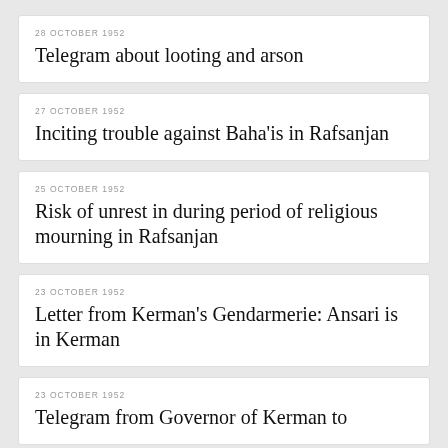28 OCTOBER 1952
Telegram about looting and arson
27 OCTOBER 1952
Inciting trouble against Baha'is in Rafsanjan
25 OCTOBER 1952
Risk of unrest in during period of religious mourning in Rafsanjan
23 OCTOBER 1952
Letter from Kerman's Gendarmerie: Ansari is in Kerman
23 OCTOBER 1952
Telegram from Governor of Kerman to